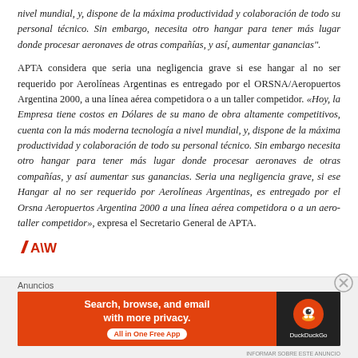nivel mundial, y, dispone de la máxima productividad y colaboración de todo su personal técnico. Sin embargo, necesita otro hangar para tener más lugar donde procesar aeronaves de otras compañías, y así, aumentar ganancias".
APTA considera que seria una negligencia grave si ese hangar al no ser requerido por Aerolíneas Argentinas es entregado por el ORSNA/Aeropuertos Argentina 2000, a una línea aérea competidora o a un taller competidor. «Hoy, la Empresa tiene costos en Dólares de su mano de obra altamente competitivos, cuenta con la más moderna tecnología a nivel mundial, y, dispone de la máxima productividad y colaboración de todo su personal técnico. Sin embargo necesita otro hangar para tener más lugar donde procesar aeronaves de otras compañías, y así aumentar sus ganancias. Seria una negligencia grave, si ese Hangar al no ser requerido por Aerolíneas Argentinas, es entregado por el Orsna Aeropuertos Argentina 2000 a una línea aérea competidora o a un aero-taller competidor», expresa el Secretario General de APTA.
[Figure (logo): A|W logo in red with a red slash symbol before the letters]
Anuncios
[Figure (screenshot): DuckDuckGo advertisement banner: orange left side with text 'Search, browse, and email with more privacy. All in One Free App' and dark right side with DuckDuckGo duck logo and brand name]